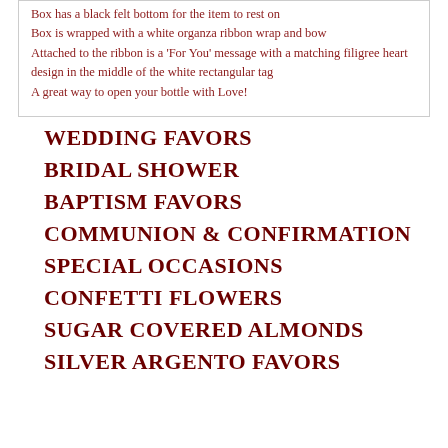Box has a black felt bottom for the item to rest on
Box is wrapped with a white organza ribbon wrap and bow
Attached to the ribbon is a 'For You' message with a matching filigree heart design in the middle of the white rectangular tag
A great way to open your bottle with Love!
WEDDING FAVORS
BRIDAL SHOWER
BAPTISM FAVORS
COMMUNION & CONFIRMATION
SPECIAL OCCASIONS
CONFETTI FLOWERS
SUGAR COVERED ALMONDS
SILVER ARGENTO FAVORS